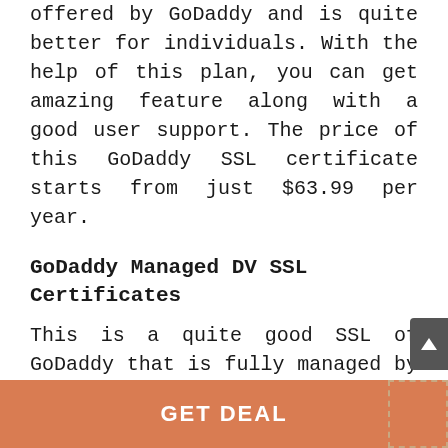offered by GoDaddy and is quite better for individuals. With the help of this plan, you can get amazing feature along with a good user support. The price of this GoDaddy SSL certificate starts from just $63.99 per year.
GoDaddy Managed DV SSL Certificates
This is a quite good SSL of GoDaddy that is fully managed by the company itself. On this type of SSL, you can save as much as 25% along with access to
[Figure (other): GET DEAL orange button bar at the bottom of the page]